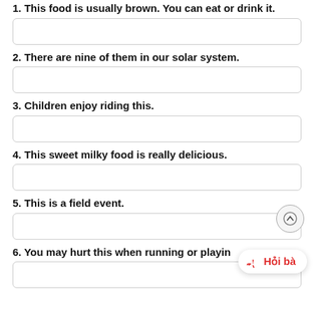1. This food is usually brown. You can eat or drink it.
2. There are nine of them in our solar system.
3. Children enjoy riding this.
4. This sweet milky food is really delicious.
5. This is a field event.
6. You may hurt this when running or playing